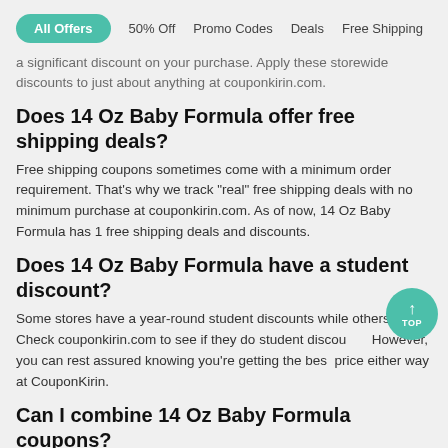All Offers  50% Off  Promo Codes  Deals  Free Shipping
a significant discount on your purchase. Apply these storewide discounts to just about anything at couponkirin.com.
Does 14 Oz Baby Formula offer free shipping deals?
Free shipping coupons sometimes come with a minimum order requirement. That's why we track "real" free shipping deals with no minimum purchase at couponkirin.com. As of now, 14 Oz Baby Formula has 1 free shipping deals and discounts.
Does 14 Oz Baby Formula have a student discount?
Some stores have a year-round student discounts while others don't. Check couponkirin.com to see if they do student discounts. However, you can rest assured knowing you're getting the best price either way at CouponKirin.
Can I combine 14 Oz Baby Formula coupons?